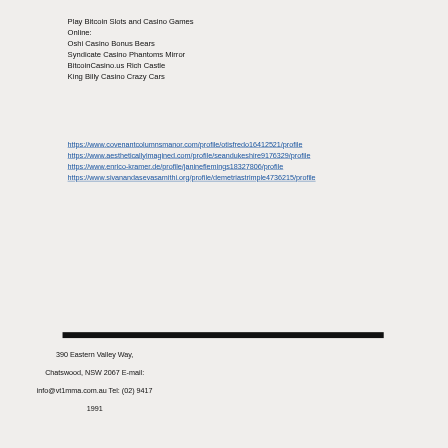Play Bitcoin Slots and Casino Games Online:
Oshi Casino Bonus Bears
Syndicate Casino Phantoms Mirror
BitcoinCasino.us Rich Castle
King Billy Casino Crazy Cars
https://www.covenantcolumnsmanor.com/profile/otisfredo16412521/profile
https://www.aestheticallyimagined.com/profile/seandukeshire9176329/profile
https://www.enrico-kramer.de/profile/janineflemings18327806/profile
https://www.sivanandasevasamithi.org/profile/demetriastrimple4736215/profile
390 Eastern Valley Way, Chatswood, NSW 2067 E-mail: info@vt1mma.com.au Tel: (02) 9417 1991